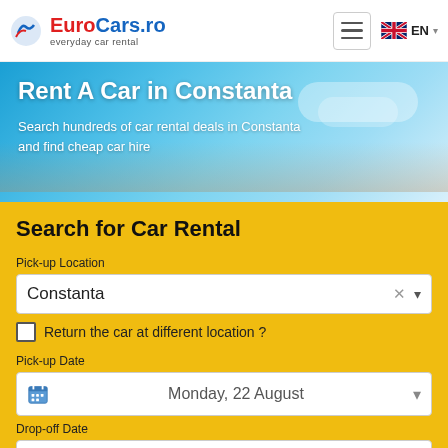EuroCars.ro everyday car rental
[Figure (screenshot): Hero banner with blue sky background showing Rent A Car in Constanta heading and subtitle text]
Rent A Car in Constanta
Search hundreds of car rental deals in Constanta and find cheap car hire
Search for Car Rental
Pick-up Location
Constanta
Return the car at different location ?
Pick-up Date
Monday, 22 August
Drop-off Date
Wednesday, 24 August